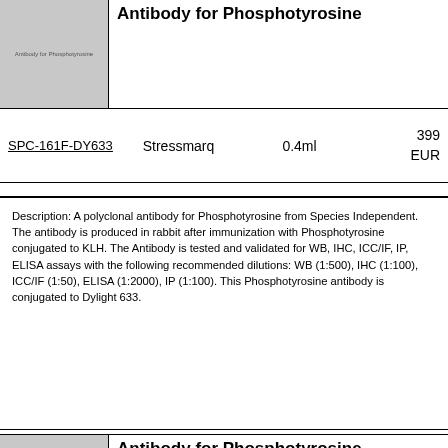[Figure (photo): Thumbnail image placeholder for Antibody for Phosphotyrosine product with light gray background and small label text]
Antibody for Phosphotyrosine
SPC-161F-DY633    Stressmarq    0.4ml    399 EUR
Description: A polyclonal antibody for Phosphotyrosine from Species Independent. The antibody is produced in rabbit after immunization with Phosphotyrosine conjugated to KLH. The Antibody is tested and validated for WB, IHC, ICC/IF, IP, ELISA assays with the following recommended dilutions: WB (1:500), IHC (1:100), ICC/IF (1:50), ELISA (1:2000), IP (1:100). This Phosphotyrosine antibody is conjugated to Dylight 633.
[Figure (photo): Thumbnail image placeholder for Antibody for Phosphotyrosine product with light gray background and small label text]
Antibody for Phosphotyrosine